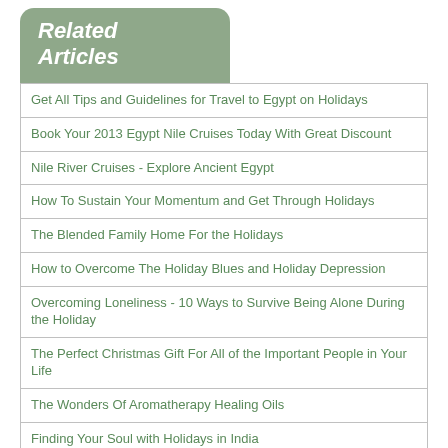Related Articles
Get All Tips and Guidelines for Travel to Egypt on Holidays
Book Your 2013 Egypt Nile Cruises Today With Great Discount
Nile River Cruises - Explore Ancient Egypt
How To Sustain Your Momentum and Get Through Holidays
The Blended Family Home For the Holidays
How to Overcome The Holiday Blues and Holiday Depression
Overcoming Loneliness - 10 Ways to Survive Being Alone During the Holiday
The Perfect Christmas Gift For All of the Important People in Your Life
The Wonders Of Aromatherapy Healing Oils
Finding Your Soul with Holidays in India
Home | Top | Set as Homepage | Bookmark this Page | Privacy | Banners | Contact | Submit Site © 2003-2019, ABC-Directory.Com. All Rights Reserved